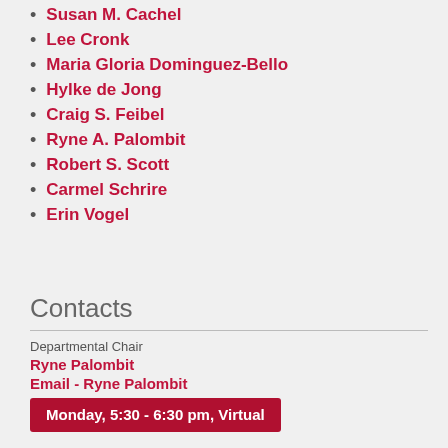Susan M. Cachel
Lee Cronk
Maria Gloria Dominguez-Bello
Hylke de Jong
Craig S. Feibel
Ryne A. Palombit
Robert S. Scott
Carmel Schrire
Erin Vogel
Contacts
Departmental Chair
Ryne Palombit
Email - Ryne Palombit
Monday, 5:30 - 6:30 pm, Virtual